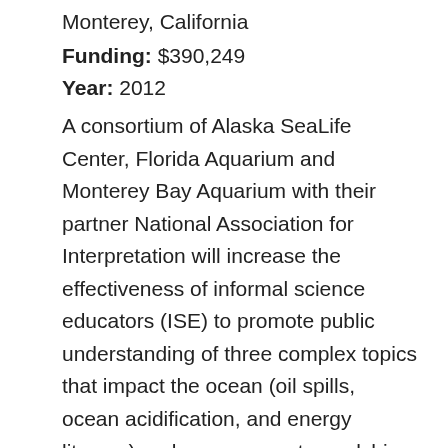Monterey, California
Funding: $390,249
Year: 2012
A consortium of Alaska SeaLife Center, Florida Aquarium and Monterey Bay Aquarium with their partner National Association for Interpretation will increase the effectiveness of informal science educators (ISE) to promote public understanding of three complex topics that impact the ocean (oil spills, ocean acidification, and energy literacy) and encourage stewardship of ocean and coastal resources. This project will have a direct impact on 252 interpreters in